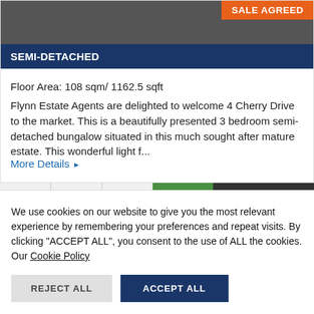[Figure (photo): Partial property photo with dark/grey sky background, partially cropped]
SALE AGREED
SEMI-DETACHED
Floor Area: 108 sqm/ 1162.5 sqft
Flynn Estate Agents are delighted to welcome 4 Cherry Drive to the market. This is a beautifully presented 3 bedroom semi-detached bungalow situated in this much sought after mature estate. This wonderful light f...
More Details ▶
We use cookies on our website to give you the most relevant experience by remembering your preferences and repeat visits. By clicking "ACCEPT ALL", you consent to the use of ALL the cookies.
Our Cookie Policy
REJECT ALL
ACCEPT ALL